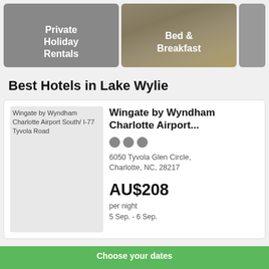[Figure (screenshot): Category card: Private Holiday Rentals with gray background]
[Figure (photo): Category card: Bed & Breakfast with food photo background]
[Figure (screenshot): Partial category card cropped on right edge]
Best Hotels in Lake Wylie
[Figure (screenshot): Hotel listing card: Wingate by Wyndham Charlotte Airport South/ I-77 Tyvola Road - placeholder image with alt text]
Wingate by Wyndham Charlotte Airport...
6050 Tyvola Glen Circle, Charlotte, NC, 28217
AU$208
per night
5 Sep. - 6 Sep.
Choose your dates